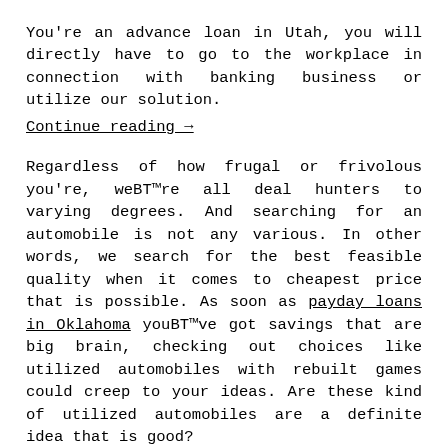You're an advance loan in Utah, you will directly have to go to the workplace in connection with banking business or utilize our solution. Continue reading →
Regardless of how frugal or frivolous you're, weBT™re all deal hunters to varying degrees. And searching for an automobile is not any various. In other words, we search for the best feasible quality when it comes to cheapest price that is possible. As soon as payday loans in Oklahoma youBT™ve got savings that are big brain, checking out choices like utilized automobiles with rebuilt games could creep to your ideas. Are these kind of utilized automobiles are a definite idea that is good? Continue reading →
In todayBT™s still-struggling economy, numerous